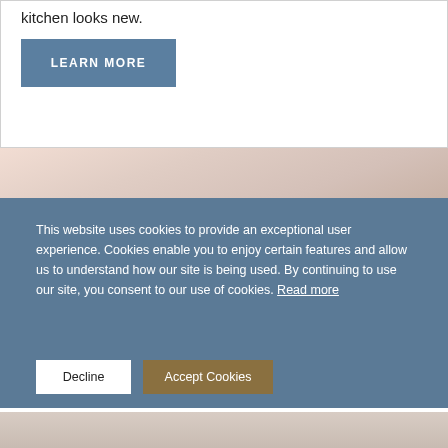kitchen looks new.
LEARN MORE
[Figure (photo): Kitchen interior photo showing light-colored cabinetry and warm lighting]
This website uses cookies to provide an exceptional user experience. Cookies enable you to enjoy certain features and allow us to understand how our site is being used. By continuing to use our site, you consent to our use of cookies. Read more
Decline
Accept Cookies
[Figure (photo): Bottom portion of kitchen interior photo]